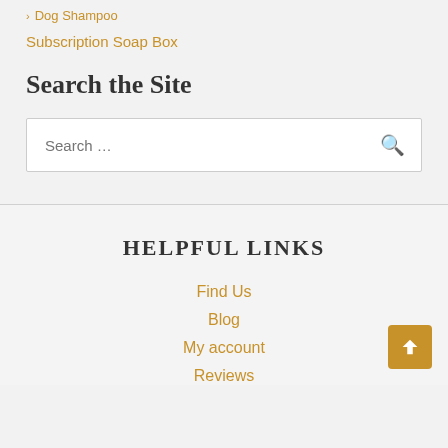› Dog Shampoo
Subscription Soap Box
Search the Site
Search …
HELPFUL LINKS
Find Us
Blog
My account
Reviews